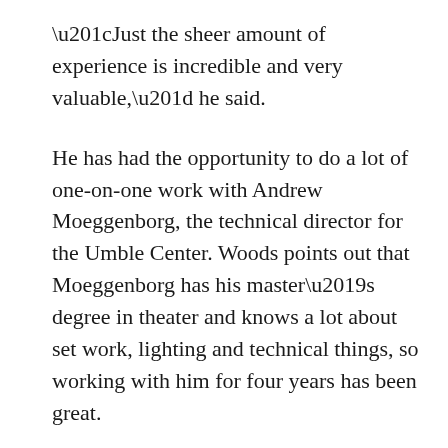“Just the sheer amount of experience is incredible and very valuable,” he said.
He has had the opportunity to do a lot of one-on-one work with Andrew Moeggenborg, the technical director for the Umble Center. Woods points out that Moeggenborg has his master’s degree in theater and knows a lot about set work, lighting and technical things, so working with him for four years has been great.
Because there are so few students in the theater department, sometimes work falls back on students that have already put in more than their fair share of time. There are